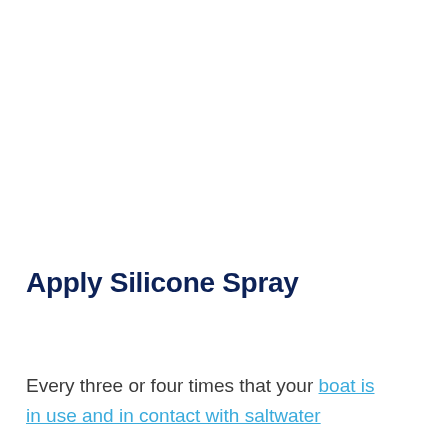Apply Silicone Spray
Every three or four times that your boat is in use and in contact with saltwater